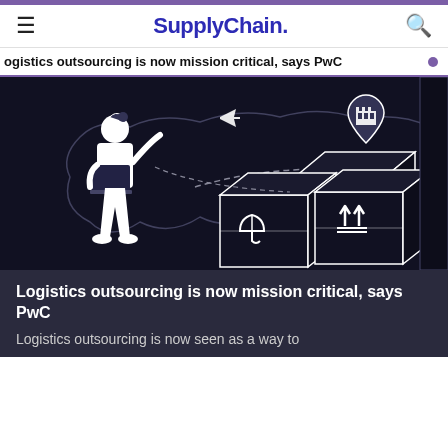SupplyChain.
Logistics outsourcing is now mission critical, says PwC
[Figure (illustration): Black background illustration showing a person holding a laptop with icons for global logistics: an airplane, a factory pin icon, a world map outline with dashed route lines, and shipping boxes with fragile/upright symbols.]
Logistics outsourcing is now mission critical, says PwC
Logistics outsourcing is now seen as a way to